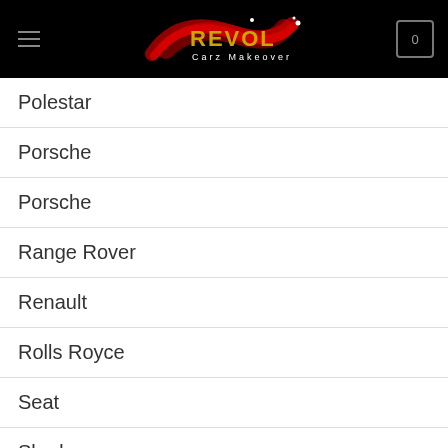Revol Carz Makeover
Polestar
Porsche
Porsche
Range Rover
Renault
Rolls Royce
Seat
Skoda
S...
Subaru
Chat with us on WhatsApp